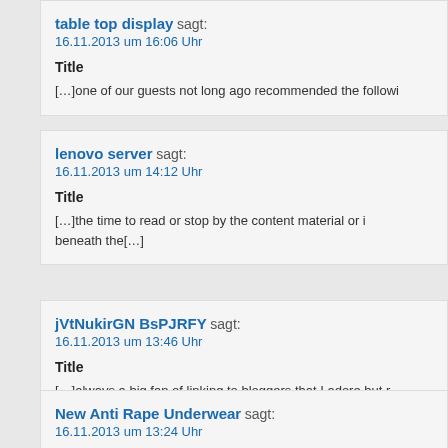table top display sagt:
16.11.2013 um 16:06 Uhr
Title
[...]one of our guests not long ago recommended the followi
lenovo server sagt:
16.11.2013 um 14:12 Uhr
Title
[...]the time to read or stop by the content material or i beneath the[...]
jVtNukirGN BsPJRFY sagt:
16.11.2013 um 13:46 Uhr
Title
[...]always a big fan of linking to bloggers that I adore but r link love from[...]
New Anti Rape Underwear sagt:
16.11.2013 um 13:24 Uhr
New Anti Rape Underwear